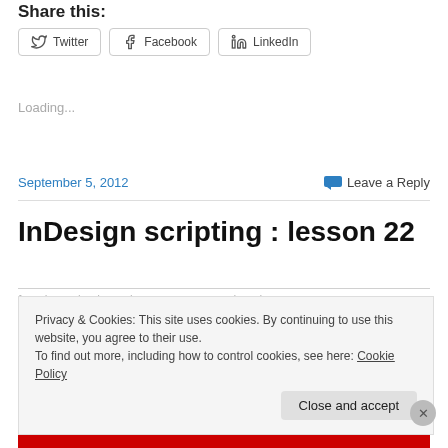Share this:
[Figure (other): Social sharing buttons: Twitter, Facebook, LinkedIn]
Loading...
September 5, 2012    💬 Leave a Reply
InDesign scripting : lesson 22
Privacy & Cookies: This site uses cookies. By continuing to use this website, you agree to their use. To find out more, including how to control cookies, see here: Cookie Policy
Close and accept